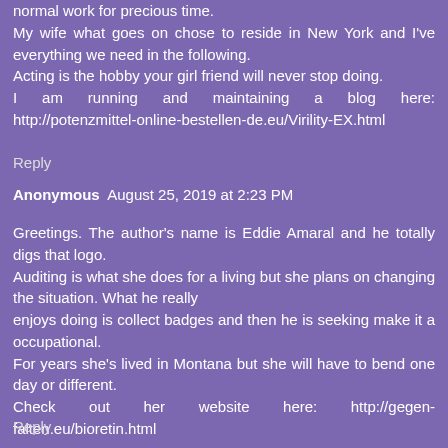normal work for precious time. My wife what goes on chose to reside in New York and I've everything we need in the following. Acting is the hobby your girl friend will never stop doing. I am running and maintaining a blog here: http://potenzmittel-online-bestellen-de.eu/Virility-EX.html
Reply
Anonymous  August 25, 2019 at 2:23 PM
Greetings. The author's name is Eddie Amaral and he totally digs that logo. Auditing is what she does for a living but she plans on changing the situation. What he really enjoys doing is collect badges and then he is seeking make it a occupational. For years she's lived in Montana but she will have to bend one day or different. Check out her website here: http://gegen-falten.eu/bioretin.html
Reply